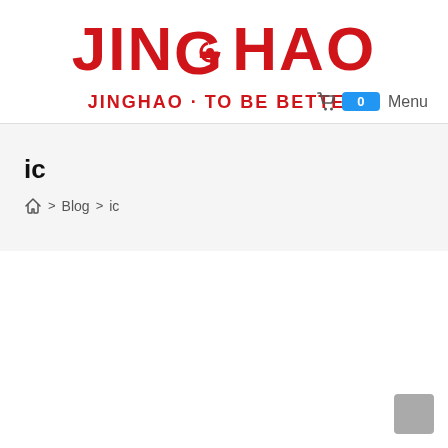JINGHAO · TO BE BETTER
ic
Home > Blog > ic